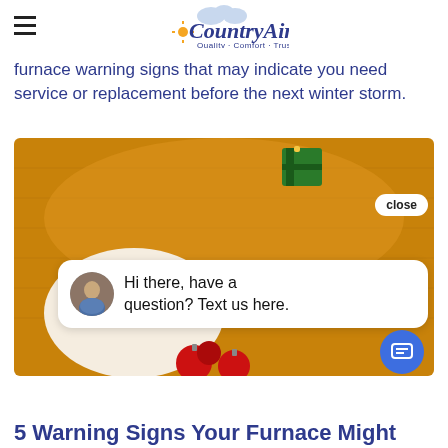Country Air — Quality · Comfort · Trust
furnace warning signs that may indicate you need service or replacement before the next winter storm.
[Figure (photo): A cat peeking out from a cozy orange/mustard knitted sweater with red Christmas ornaments and a green gift box, overlaid with a chat widget showing a woman's avatar and the message 'Hi there, have a question? Text us here.' with a close button and a blue chat icon button.]
5 Warning Signs Your Furnace Might